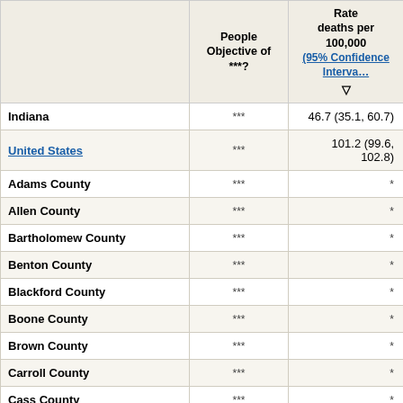|  | Objective of ***? | Rate deaths per 100,000 (95% Confidence Interval) |
| --- | --- | --- |
| Indiana | *** | 46.7 (35.1, 60.7) |
| United States | *** | 101.2 (99.6, 102.8) |
| Adams County | *** | * |
| Allen County | *** | * |
| Bartholomew County | *** | * |
| Benton County | *** | * |
| Blackford County | *** | * |
| Boone County | *** | * |
| Brown County | *** | * |
| Carroll County | *** | * |
| Cass County | *** | * |
| Clark County | *** | * |
| Clay County | *** | * |
| Clinton County | *** | * |